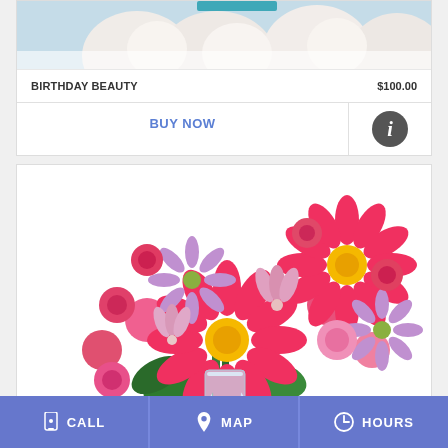[Figure (photo): Partial view of a white floral arrangement (top cropped), appearing to be roses or similar white flowers with a teal/blue accent at the top]
BIRTHDAY BEAUTY
$100.00
BUY NOW
[Figure (photo): Colorful flower bouquet featuring red/coral gerbera daisies, pink mini roses, lavender asters, and pink alstroemeria arranged in a clear vase]
CALL
MAP
HOURS